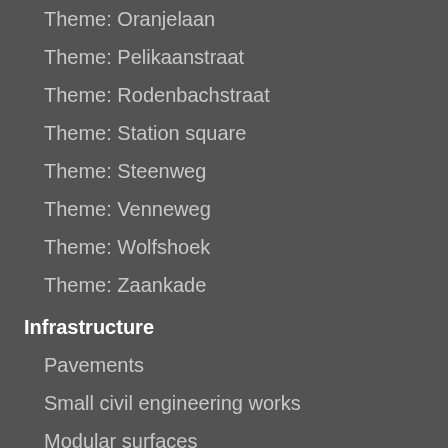Theme: Oranjelaan
Theme: Pelikaanstraat
Theme: Rodenbachstraat
Theme: Station square
Theme: Steenweg
Theme: Venneweg
Theme: Wolfshoek
Theme: Zaankade
Infrastructure
Pavements
Small civil engineering works
Modular surfaces
Bridge: "Overlaatbrug"
Passerelle